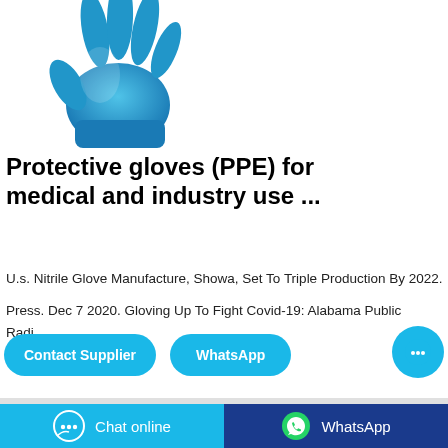[Figure (photo): Blue nitrile protective glove shown from above against white background]
Protective gloves (PPE) for medical and industry use ...
U.s. Nitrile Glove Manufacture, Showa, Set To Triple Production By 2022.
Press. Dec 7 2020. Gloving Up To Fight Covid-19: Alabama Public Radi…
[Figure (illustration): Contact Supplier and WhatsApp buttons in cyan/blue rounded rectangles]
[Figure (photo): Teal/green nitrile gloves visible at bottom of page]
[Figure (infographic): Chat online button (cyan) and WhatsApp button (dark blue) at bottom of page]